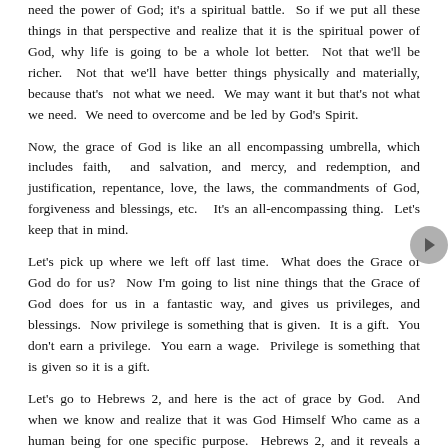need the power of God; it's a spiritual battle.  So if we put all these things in that perspective and realize that it is the spiritual power of God, why life is going to be a whole lot better.  Not that we'll be richer.  Not that we'll have better things physically and materially, because that's not what we need.  We may want it but that's not what we need.  We need to overcome and be led by God's Spirit.
Now, the grace of God is like an all encompassing umbrella, which includes faith, and salvation, and mercy, and redemption, and justification, repentance, love, the laws, the commandments of God, forgiveness and blessings, etc.  It's an all-encompassing thing.  Let's keep that in mind.
Let's pick up where we left off last time.  What does the Grace of God do for us?  Now I'm going to list nine things that the Grace of God does for us in a fantastic way, and gives us privileges, and blessings.  Now privilege is something that is given.  It is a gift.  You don't earn a privilege.  You earn a wage.  Privilege is something that is given so it is a gift.
Let's go to Hebrews 2, and here is the act of grace by God.  And when we know and realize that it was God Himself Who came as a human being for one specific purpose.  Hebrews 2, and it reveals a little bit about the overall plan of God.  Let's pick it up here in verse 5.  "For not to the angels did He subject the habitable world which is to come [that is the Kingdom of God as it comes on the earth], of